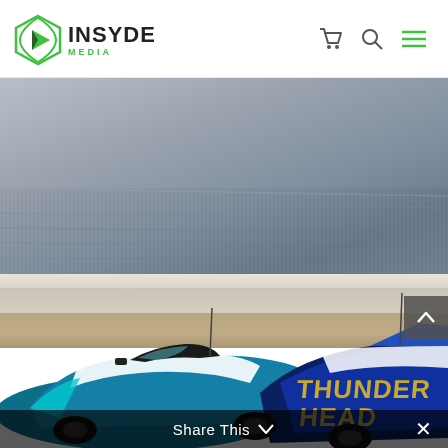[Figure (logo): Insyde Media logo: green play button icon with INSYDE in bold black and MEDIA in green below, navigation icons (cart, search, hamburger menu) on the right]
[Figure (photo): Racing photo showing two blue and white prototype race cars with THUNDERHEAD livery on a racetrack, motion-blurred background suggesting high speed, overcast sky]
Share This